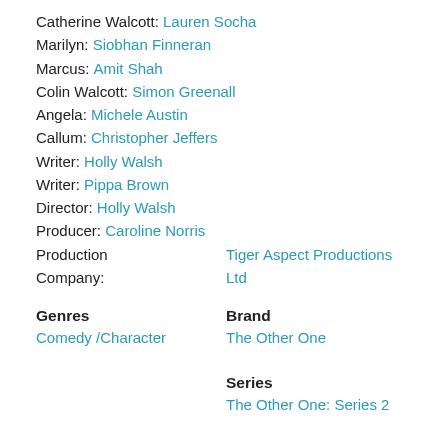Catherine Walcott: Lauren Socha
Marilyn: Siobhan Finneran
Marcus: Amit Shah
Colin Walcott: Simon Greenall
Angela: Michele Austin
Callum: Christopher Jeffers
Writer: Holly Walsh
Writer: Pippa Brown
Director: Holly Walsh
Producer: Caroline Norris
Production Company: Tiger Aspect Productions Ltd
Genres
Brand
Comedy /Character
The Other One
Series
The Other One: Series 2